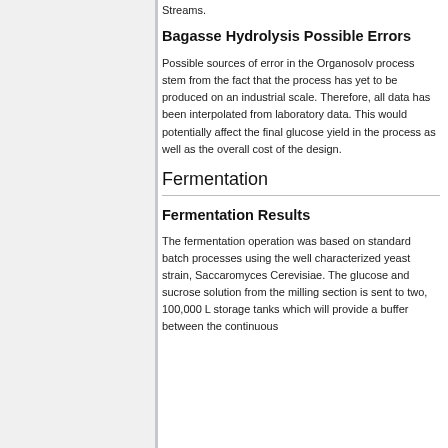Streams.
Bagasse Hydrolysis Possible Errors
Possible sources of error in the Organosolv process stem from the fact that the process has yet to be produced on an industrial scale. Therefore, all data has been interpolated from laboratory data. This would potentially affect the final glucose yield in the process as well as the overall cost of the design.
Fermentation
Fermentation Results
The fermentation operation was based on standard batch processes using the well characterized yeast strain, Saccaromyces Cerevisiae. The glucose and sucrose solution from the milling section is sent to two, 100,000 L storage tanks which will provide a buffer between the continuous